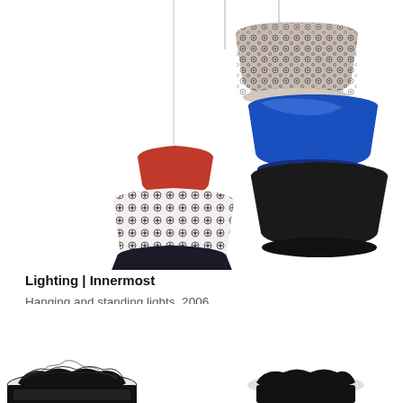[Figure (photo): Hanging pendant lampshades stacked in multiple tiers with various patterns — floral black and white, blue gloss, red, and dark textured fabrics — suspended against a white background.]
Lighting | Innermost
Hanging and standing lights, 2006
New and playful generation of lampshade
[Figure (photo): Partially visible ornate black and white decorative lamp bases at the bottom of the page, cropped.]